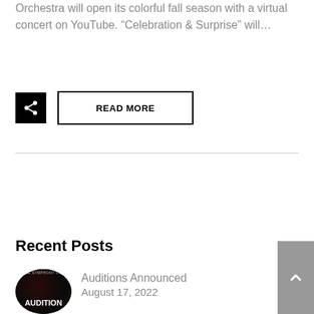Orchestra will open its colorful fall season with a virtual concert on YouTube. “Celebration & Surprise” will…
[Figure (screenshot): Share icon button (black square with share symbol) and READ MORE button (bordered rectangle with bold text)]
Recent Posts
[Figure (photo): Circular thumbnail image with dark background showing 'AUDITION' text for a symphony orchestra]
Auditions Announced
August 17, 2022